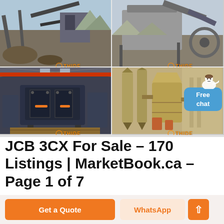[Figure (photo): Four-quadrant collage of industrial/mining machinery photos with THIDE watermarks. Top-left: outdoor industrial conveyor facility. Top-right: industrial screening/sorting machinery outdoors. Bottom-left: large impact crusher indoors. Bottom-right: industrial grinding mill equipment. A 'Free chat' bubble and white customer service figure icon are overlaid in the bottom-right.]
JCB 3CX For Sale - 170 Listings | MarketBook.ca - Page 1 of 7
Get a Quote
WhatsApp